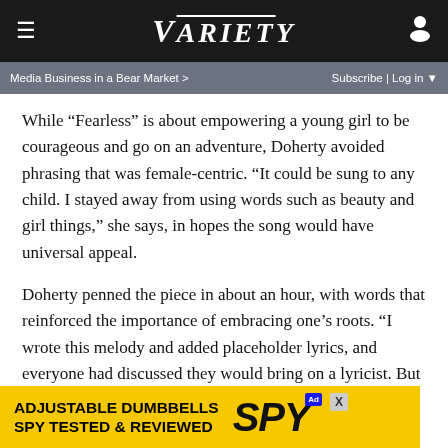VARIETY
Media Business in a Bear Market >    Subscribe | Log in
While “Fearless” is about empowering a young girl to be courageous and go on an adventure, Doherty avoided phrasing that was female-centric. “It could be sung to any child. I stayed away from using words such as beauty and girl things,” she says, in hopes the song would have universal appeal.
Doherty penned the piece in about an hour, with words that reinforced the importance of embracing one’s roots. “I wrote this melody and added placeholder lyrics, and everyone had discussed they would bring on a lyricist. But in the end, they used the song with those lyrics,” she explains.
Doherty, the first female composer to work on a DreamWorks animated feature, brought in Spanish guitars as she tied
[Figure (other): Advertisement banner: ADJUSTABLE DUMBBELLS SPY TESTED & REVIEWED with SPY logo on yellow background]